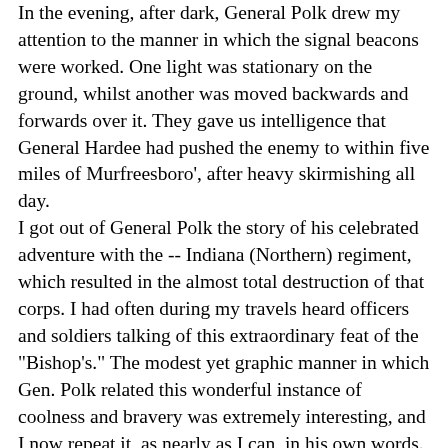In the evening, after dark, General Polk drew my attention to the manner in which the signal beacons were worked. One light was stationary on the ground, whilst another was moved backwards and forwards over it. They gave us intelligence that General Hardee had pushed the enemy to within five miles of Murfreesboro', after heavy skirmishing all day. I got out of General Polk the story of his celebrated adventure with the -- Indiana (Northern) regiment, which resulted in the almost total destruction of that corps. I had often during my travels heard officers and soldiers talking of this extraordinary feat of the "Bishop's." The modest yet graphic manner in which Gen. Polk related this wonderful instance of coolness and bravery was extremely interesting, and I now repeat it, as nearly as I can, in his own words. "Well, sir, it was at the battle of Perryville, late in the evening--in fact, it was almost dark when Liddell's brigade came into action. Shortly after its arrival I observed a body of men, whom I believed to be Confederates, standing at an angle to this brigade. and